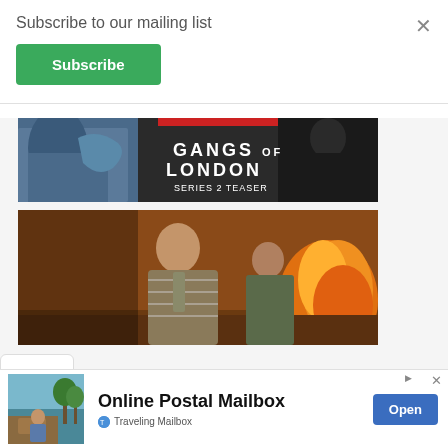Subscribe to our mailing list
Subscribe
[Figure (photo): Gangs of London Series 2 Teaser thumbnail showing two figures with text overlay: GANGS OF LONDON SERIES 2 TEASER]
[Figure (photo): Scene from Gangs of London showing two men with fire in background]
[Figure (infographic): Advertisement banner for Online Postal Mailbox by Traveling Mailbox showing tropical outdoor scene with person at desk]
Online Postal Mailbox
Open
Traveling Mailbox